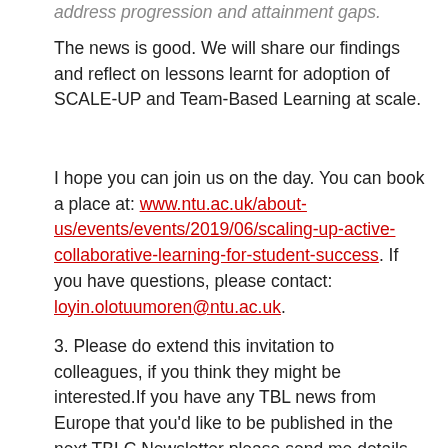address progression and attainment gaps.
The news is good. We will share our findings and reflect on lessons learnt for adoption of SCALE-UP and Team-Based Learning at scale.
I hope you can join us on the day. You can book a place at: www.ntu.ac.uk/about-us/events/events/2019/06/scaling-up-active-collaborative-learning-for-student-success. If you have questions, please contact: loyin.olotuumoren@ntu.ac.uk.
3. Please do extend this invitation to colleagues, if you think they might be interested. If you have any TBL news from Europe that you'd like to be published in the next TBLC Newsletter please send me details by 15th May. This might include any conferences where you've presented on TBL, any visitors who are interested in TBL that you've hosted or any TBL research or scholarship publications